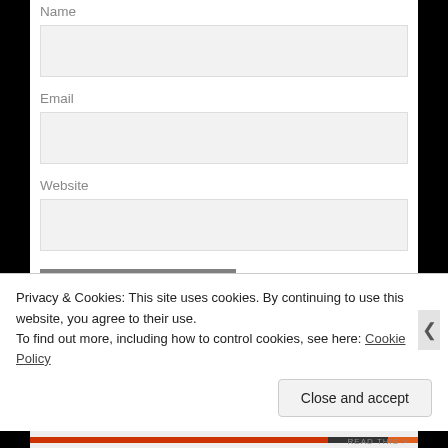Name
[Figure (screenshot): Empty text input field for Name]
Email
[Figure (screenshot): Empty text input field for Email]
Website
[Figure (screenshot): Empty text input field for Website]
POST COMMENT
Privacy & Cookies: This site uses cookies. By continuing to use this website, you agree to their use.
To find out more, including how to control cookies, see here: Cookie Policy
Close and accept